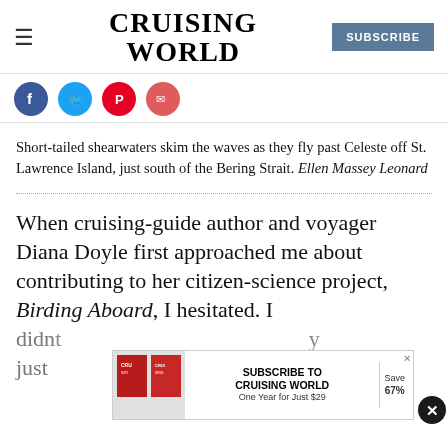CRUISING WORLD — SUBSCRIBE
[Figure (other): Social media share icons: Facebook (blue circle), Twitter (blue circle), Pinterest (red circle), Email (red circle)]
Short-tailed shearwaters skim the waves as they fly past Celeste off St. Lawrence Island, just south of the Bering Strait. Ellen Massey Leonard
When cruising-guide author and voyager Diana Doyle first approached me about contributing to her citizen-science project, Birding Aboard, I hesitated. I didn't ... y just gotten into birding in a very amateur,
[Figure (infographic): Advertisement banner: Subscribe to Cruising World. One Year for Just $29. Save 67%. Shows magazine covers.]